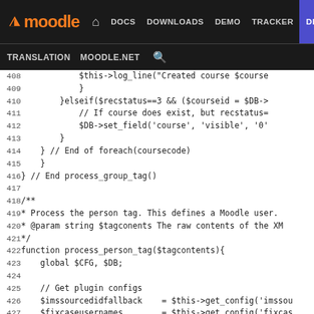moodle — DOCS DOWNLOADS DEMO TRACKER DEV | TRANSLATION MOODLE.NET
Code listing lines 408–433: PHP source code for process_person_tag function in Moodle